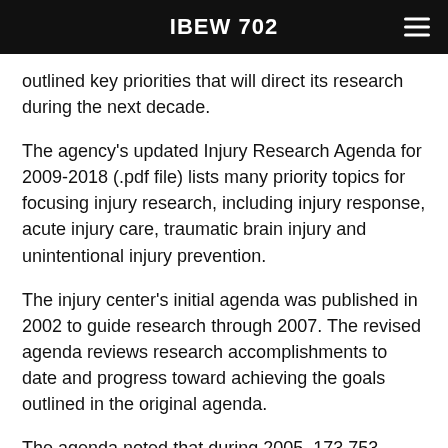IBEW 702
outlined key priorities that will direct its research during the next decade.
The agency's updated Injury Research Agenda for 2009-2018 (.pdf file) lists many priority topics for focusing injury research, including injury response, acute injury care, traumatic brain injury and unintentional injury prevention.
The injury center's initial agenda was published in 2002 to guide research through 2007. The revised agenda reviews research accomplishments to date and progress toward achieving the goals outlined in the original agenda.
The agenda noted that during 2005, 173,753 injury-related deaths occurred in the United States – including 43,667 motor vehicle accidents, 23,618 poisonings and